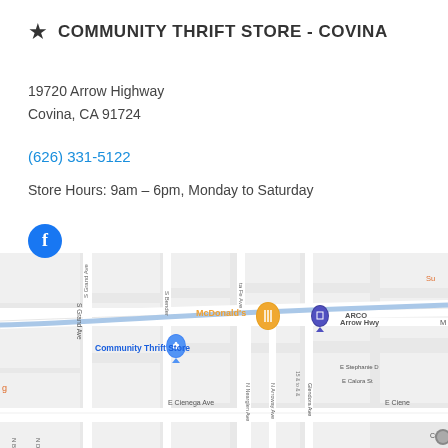★ COMMUNITY THRIFT STORE - COVINA
19720 Arrow Highway
Covina, CA 91724
(626) 331-5122
Store Hours: 9am – 6pm, Monday to Saturday
[Figure (map): Google Maps screenshot showing the location of Community Thrift Store on Arrow Hwy in Covina, CA, near McDonald's, ARCO, with streets S Grand Ave, S Bender, Santa Fe Ave, N Nearglen Ave, N Arroway Ave, Glendora Ave, E Cienega Ave, and Cedargrove visible.]